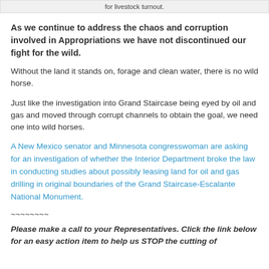for livestock turnout.
As we continue to address the chaos and corruption involved in Appropriations we have not discontinued our fight for the wild.
Without the land it stands on, forage and clean water, there is no wild horse.
Just like the investigation into Grand Staircase being eyed by oil and gas and moved through corrupt channels to obtain the goal, we need one into wild horses.
A New Mexico senator and Minnesota congresswoman are asking for an investigation of whether the Interior Department broke the law in conducting studies about possibly leasing land for oil and gas drilling in original boundaries of the Grand Staircase-Escalante National Monument.
~~~~~~~~
Please make a call to your Representatives. Click the link below for an easy action item to help us STOP the cutting of